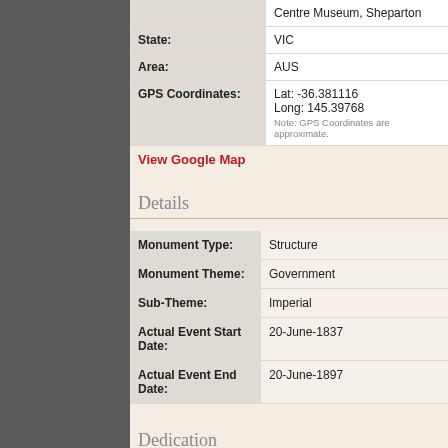| Field | Value |
| --- | --- |
|  | Centre Museum, Shepparton |
| State: | VIC |
| Area: | AUS |
| GPS Coordinates: | Lat: -36.381116
Long: 145.39768
Note: GPS Coordinates are approximate. |
View Google Map
Details
| Field | Value |
| --- | --- |
| Monument Type: | Structure |
| Monument Theme: | Government |
| Sub-Theme: | Imperial |
| Actual Event Start Date: | 20-June-1837 |
| Actual Event End Date: | 20-June-1897 |
Dedication
Front Inscription